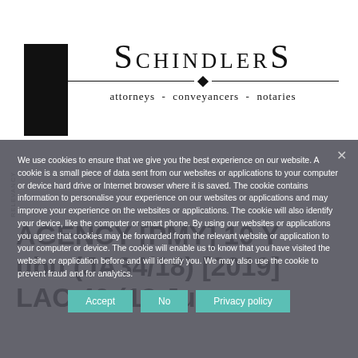[Figure (logo): Schindlers attorneys conveyancers notaries logo with black vertical bar and diamond divider]
We use cookies to ensure that we give you the best experience on our website. A cookie is a small piece of data sent from our websites or applications to your computer or device hard drive or Internet browser where it is saved. The cookie contains information to personalise your experience on our websites or applications and may improve your experience on the websites or applications. The cookie will also identify your device, like the computer or smart phone. By using our websites or applications you agree that cookies may be forwarded from the relevant website or application to your computer or device. The cookie will enable us to know that you have visited the website or application before and will identify you. We may also use the cookie to prevent fraud and for analytics.
AGENCY [PMY] 10 Y ubu (JA34/18) [2019] LAC 40 (13 June